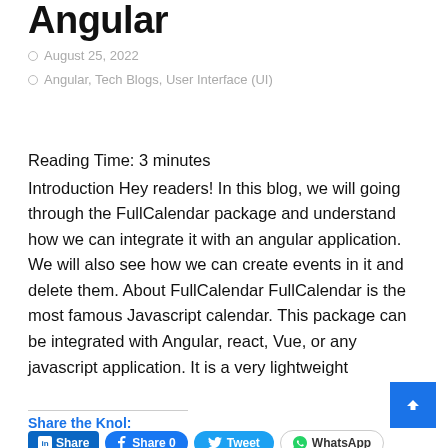Angular
August 25, 2022
Angular, Tech Blogs, User Interface (UI)
Reading Time: 3 minutes
Introduction Hey readers! In this blog, we will going through the FullCalendar package and understand how we can integrate it with an angular application. We will also see how we can create events in it and delete them. About FullCalendar FullCalendar is the most famous Javascript calendar. This package can be integrated with Angular, react, Vue, or any javascript application. It is a very lightweight
Continue Reading →
Share the Knol:
Share | Share 0 | Tweet | WhatsApp